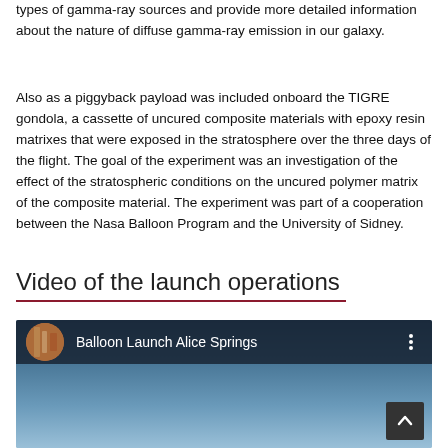types of gamma-ray sources and provide more detailed information about the nature of diffuse gamma-ray emission in our galaxy.
Also as a piggyback payload was included onboard the TIGRE gondola, a cassette of uncured composite materials with epoxy resin matrixes that were exposed in the stratosphere over the three days of the flight. The goal of the experiment was an investigation of the effect of the stratospheric conditions on the uncured polymer matrix of the composite material. The experiment was part of a cooperation between the Nasa Balloon Program and the University of Sidney.
Video of the launch operations
[Figure (screenshot): YouTube video embed showing 'Balloon Launch Alice Springs' with a circular thumbnail on the left, video title in white text on dark background, and a blue gradient below representing the video content.]